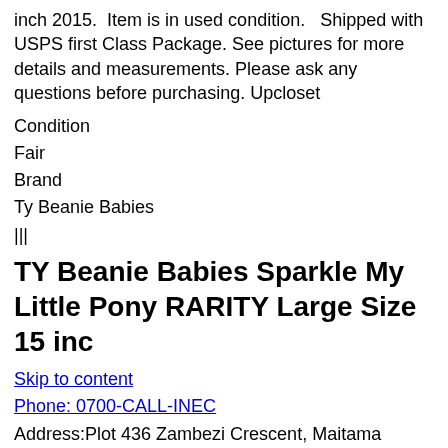inch 2015.  Item is in used condition.   Shipped with USPS first Class Package. See pictures for more details and measurements. Please ask any questions before purchasing. Upcloset
Condition
Fair
Brand
Ty Beanie Babies
|||
TY Beanie Babies Sparkle My Little Pony RARITY Large Size 15 inc
Skip to content
Phone: 0700-CALL-INEC
Address:Plot 436 Zambezi Crescent, Maitama District, FCT, Abuja, NIGERIA
American Eagle jeans size 12